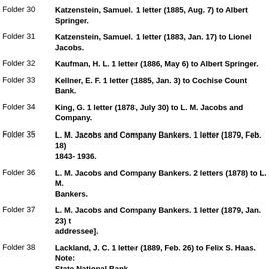Folder 30	Katzenstein, Samuel. 1 letter (1885, Aug. 7) to Albert Springer.
Folder 31	Katzenstein, Samuel. 1 letter (1883, Jan. 17) to Lionel Jacobs.
Folder 32	Kaufman, H. L. 1 letter (1886, May 6) to Albert Springer.
Folder 33	Kellner, E. F. 1 letter (1885, Jan. 3) to Cochise Count Bank.
Folder 34	King, G. 1 letter (1878, July 30) to L. M. Jacobs and Company.
Folder 35	L. M. Jacobs and Company Bankers. 1 letter (1879, Feb. 18) 1843- 1936.
Folder 36	L. M. Jacobs and Company Bankers. 2 letters (1878) to L. M. Bankers.
Folder 37	L. M. Jacobs and Company Bankers. 1 letter (1879, Jan. 23) to addressee].
Folder 38	Lackland, J. C. 1 letter (1889, Feb. 26) to Felix S. Haas. Note: State National Bank.
Folder 39	Lackland, J. C. 1 letter (1889, Mar. 29) to M. P. Freeman. Note: State National Bank.